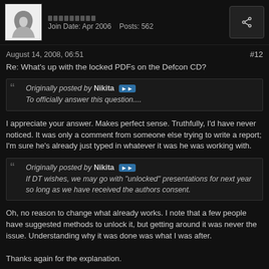Join Date: Apr 2006  Posts: 562
August 14, 2008, 06:51  #12
Re: What's up with the locked PDFs on the Defcon CD?
Originally posted by Nikita
To officially answer this question....
I appreciate your answer. Makes perfect sense. Truthfully, I'd have never noticed. It was only a comment from someone else trying to write a report; I'm sure he's already just typed in whatever it was he was working with.
Originally posted by Nikita
If DT wishes, we may go with "unlocked" presentations for next year so long as we have received the authors consent.
Oh, no reason to change what already works. I note that a few people have suggested methods to unlock it, but getting around it was never the issue. Understanding why it was done was what I was after.

Thanks again for the explanation.